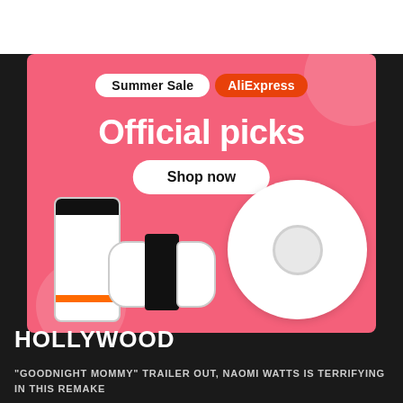[Figure (illustration): AliExpress Summer Sale advertisement banner with pink background. Shows 'Summer Sale' badge and 'AliExpress' red badge at top. Large white text 'Official picks' and a white 'Shop now' button. Products depicted: a white robot vacuum cleaner, a white gaming console (Nintendo Switch style), and a white/black smartphone. Pink decorative circles in background.]
HOLLYWOOD
"GOODNIGHT MOMMY" TRAILER OUT, NAOMI WATTS IS TERRIFYING IN THIS REMAKE